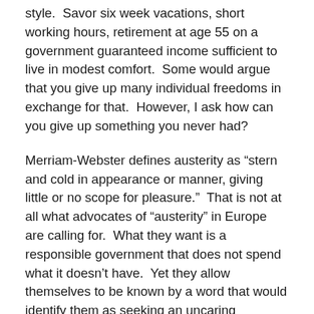style.  Savor six week vacations, short working hours, retirement at age 55 on a government guaranteed income sufficient to live in modest comfort.  Some would argue that you give up many individual freedoms in exchange for that.  However, I ask how can you give up something you never had?
Merriam-Webster defines austerity as “stern and cold in appearance or manner, giving little or no scope for pleasure.”  That is not at all what advocates of “austerity” in Europe are calling for.  What they want is a responsible government that does not spend what it doesn’t have.  Yet they allow themselves to be known by a word that would identify them as seeking an uncaring government that leaves little or no scope for pleasure.  Thus applied, the word austerity is propagandic.